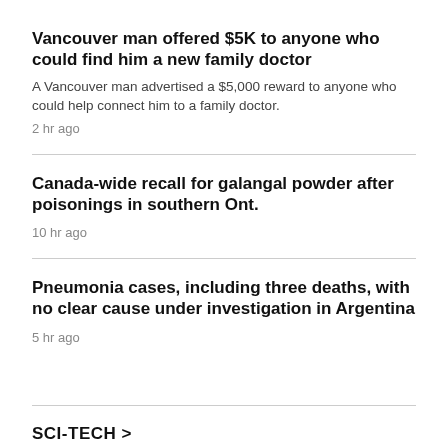Vancouver man offered $5K to anyone who could find him a new family doctor
A Vancouver man advertised a $5,000 reward to anyone who could help connect him to a family doctor.
2 hr ago
Canada-wide recall for galangal powder after poisonings in southern Ont.
10 hr ago
Pneumonia cases, including three deaths, with no clear cause under investigation in Argentina
5 hr ago
SCI-TECH >